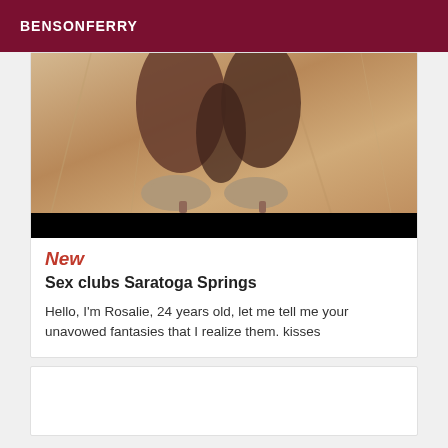BENSONFERRY
[Figure (photo): Close-up photo of legs wearing heeled shoes against a stone/marble background, with a black bar at the bottom of the image]
New
Sex clubs Saratoga Springs
Hello, I'm Rosalie, 24 years old, let me tell me your unavowed fantasies that I realize them. kisses